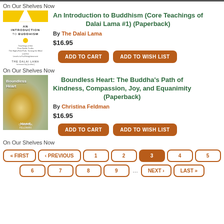On Our Shelves Now
[Figure (illustration): Book cover: An Introduction to Buddhism with yellow and white design, gold stupa symbol]
An Introduction to Buddhism (Core Teachings of Dalai Lama #1) (Paperback)
By The Dalai Lama
$16.95
ADD TO CART | ADD TO WISH LIST
On Our Shelves Now
[Figure (illustration): Book cover: Boundless Heart with flower/lotus image]
Boundless Heart: The Buddha's Path of Kindness, Compassion, Joy, and Equanimity (Paperback)
By Christina Feldman
$16.95
ADD TO CART | ADD TO WISH LIST
On Our Shelves Now
« FIRST ‹ PREVIOUS 1 2 3 4 5 6 7 8 9 ... NEXT › LAST »